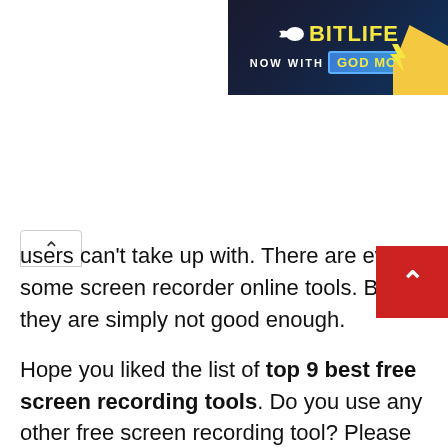[Figure (screenshot): BitLife advertisement banner showing 'BitLife NOW WITH GOD MODE' text with yellow branding on dark background]
users can't take up with. There are even some screen recorder online tools. But they are simply not good enough.
Hope you liked the list of top 9 best free screen recording tools. Do you use any other free screen recording tool? Please let me know about that in the comment section down below.